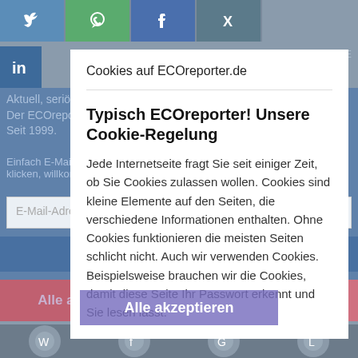[Figure (screenshot): Background website with social media share icons (Twitter, WhatsApp, Facebook, Xing, LinkedIn) at top. Blue newsletter subscription bar visible behind modal. Bottom shows red accept/settings buttons and social icons row.]
Cookies auf ECOreporter.de
Typisch ECOreporter! Unsere Cookie-Regelung
Jede Internetseite fragt Sie seit einiger Zeit, ob Sie Cookies zulassen wollen. Cookies sind kleine Elemente auf den Seiten, die verschiedene Informationen enthalten. Ohne Cookies funktionieren die meisten Seiten schlicht nicht. Auch wir verwenden Cookies. Beispielsweise brauchen wir die Cookies, damit diese Seite Ihr Passwort erkennt und Sie lesen lässt.
Abschicken
Alle akzeptieren
Einstellungen
Nicht mehr anzeigen